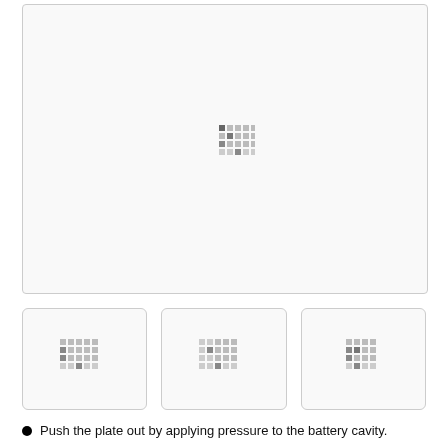[Figure (photo): Large placeholder image area with a loading spinner icon in the center, bordered with light gray rounded rectangle border]
[Figure (photo): Small thumbnail placeholder image with loading spinner, bordered with light gray rounded rectangle]
[Figure (photo): Small thumbnail placeholder image with loading spinner, bordered with light gray rounded rectangle]
[Figure (photo): Small thumbnail placeholder image with loading spinner, bordered with light gray rounded rectangle]
Push the plate out by applying pressure to the battery cavity.